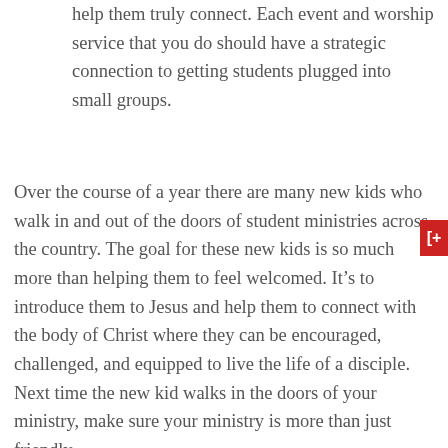help them truly connect. Each event and worship service that you do should have a strategic connection to getting students plugged into small groups.
Over the course of a year there are many new kids who walk in and out of the doors of student ministries across the country. The goal for these new kids is so much more than helping them to feel welcomed. It’s to introduce them to Jesus and help them to connect with the body of Christ where they can be encouraged, challenged, and equipped to live the life of a disciple. Next time the new kid walks in the doors of your ministry, make sure your ministry is more than just friendly.